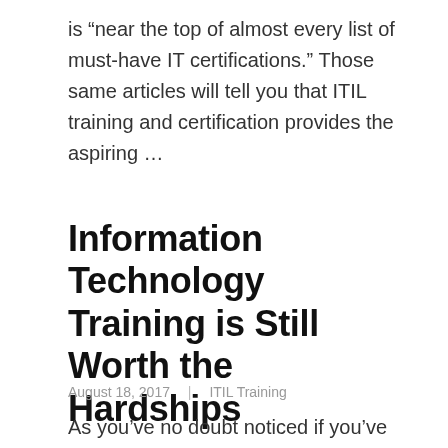is “near the top of almost every list of must-have IT certifications.” Those same articles will tell you that ITIL training and certification provides the aspiring …
Information Technology Training is Still Worth the Hardships
August 18, 2017  |  ITIL Training
As you’ve no doubt noticed if you’ve been reading for a while, a lot of the content at this blog is aimed at